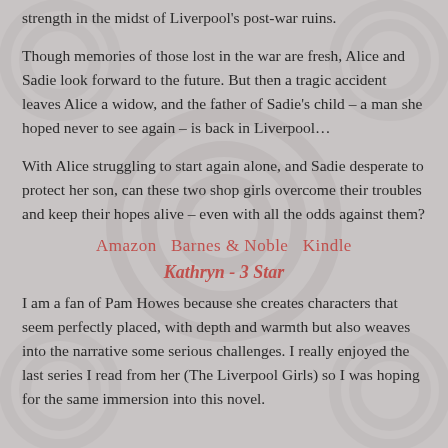strength in the midst of Liverpool's post-war ruins.
Though memories of those lost in the war are fresh, Alice and Sadie look forward to the future. But then a tragic accident leaves Alice a widow, and the father of Sadie's child – a man she hoped never to see again – is back in Liverpool…
With Alice struggling to start again alone, and Sadie desperate to protect her son, can these two shop girls overcome their troubles and keep their hopes alive – even with all the odds against them?
Amazon   Barnes & Noble  Kindle
Kathryn - 3 Star
I am a fan of Pam Howes because she creates characters that seem perfectly placed, with depth and warmth but also weaves into the narrative some serious challenges. I really enjoyed the last series I read from her (The Liverpool Girls) so I was hoping for the same immersion into this novel.